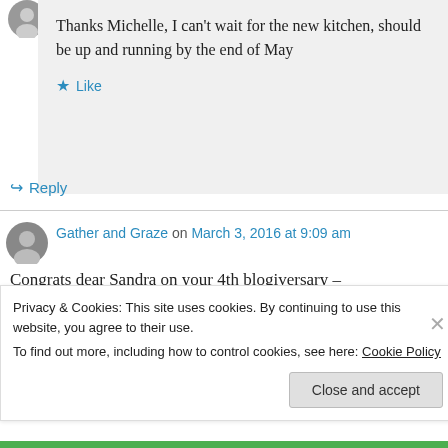Thanks Michelle, I can't wait for the new kitchen, should be up and running by the end of May
Like
Reply
Gather and Graze on March 3, 2016 at 9:09 am
Congrats dear Sandra on your 4th blogiversary –
Privacy & Cookies: This site uses cookies. By continuing to use this website, you agree to their use. To find out more, including how to control cookies, see here: Cookie Policy
Close and accept